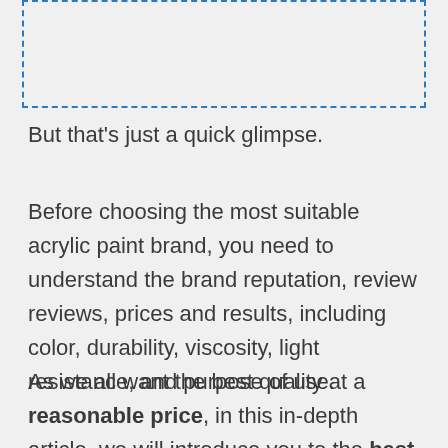[Figure (other): Dashed blue border rectangle placeholder box at top of page]
But that's just a quick glimpse.
Before choosing the most suitable acrylic paint brand, you need to understand the brand reputation, review reviews, prices and results, including color, durability, viscosity, light resistance, and purpose of use.
As we all want the best quality at a reasonable price, in this in-depth article, we will introduce you to the best acrylic paint